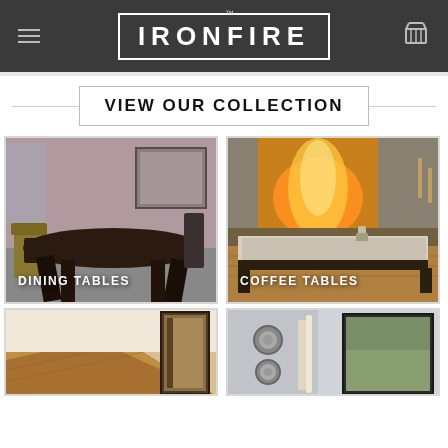IRONFIRE™
VIEW OUR COLLECTION
[Figure (photo): Dark wood dining table with chairs in a purple-toned room with a mirror in background. Label: DINING TABLES]
[Figure (photo): Rustic white/grey coffee table in front of a large stone fireplace with fire. Label: COFFEE TABLES]
[Figure (photo): Partial view of a wood table corner with framed artwork in background]
[Figure (photo): Interior scene with grey wall, circular objects and a framed picture]